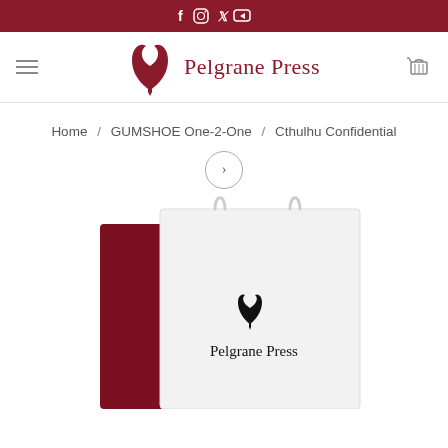Social media icons: Facebook, Instagram, Twitter, YouTube
[Figure (logo): Pelgrane Press logo with stylized PP monogram and text 'Pelgrane Press' in dark red, navigation hamburger menu on left, shopping cart icon on right]
Home / GUMSHOE One-2-One / Cthulhu Confidential
[Figure (photo): Shopping bags with Pelgrane Press logo printed on them. One dark red/maroon bag behind a white bag. The white bag shows the Pelgrane Press PP monogram logo and company name in black.]